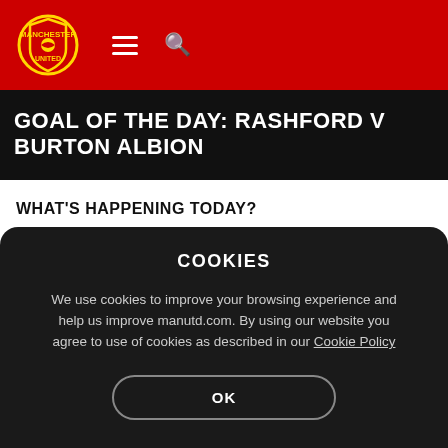[Figure (logo): Manchester United website header with club crest, hamburger menu icon, and search icon on red background]
GOAL OF THE DAY: RASHFORD V BURTON ALBION
WHAT'S HAPPENING TODAY?
Ole Gunnar Solskjaer will take part in a press
COOKIES
We use cookies to improve your browsing experience and help us improve manutd.com. By using our website you agree to use of cookies as described in our Cookie Policy
OK